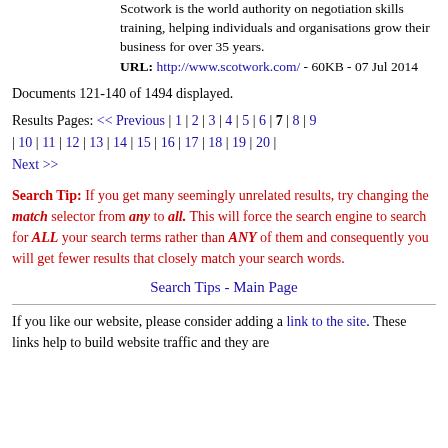Scotwork is the world authority on negotiation skills training, helping individuals and organisations grow their business for over 35 years.
URL: http://www.scotwork.com/ - 60KB - 07 Jul 2014
Documents 121-140 of 1494 displayed.
Results Pages: << Previous | 1 | 2 | 3 | 4 | 5 | 6 | 7 | 8 | 9 | 10 | 11 | 12 | 13 | 14 | 15 | 16 | 17 | 18 | 19 | 20 | Next >>
Search Tip: If you get many seemingly unrelated results, try changing the match selector from any to all. This will force the search engine to search for ALL your search terms rather than ANY of them and consequently you will get fewer results that closely match your search words.
Search Tips - Main Page
If you like our website, please consider adding a link to the site. These links help to build website traffic and they are